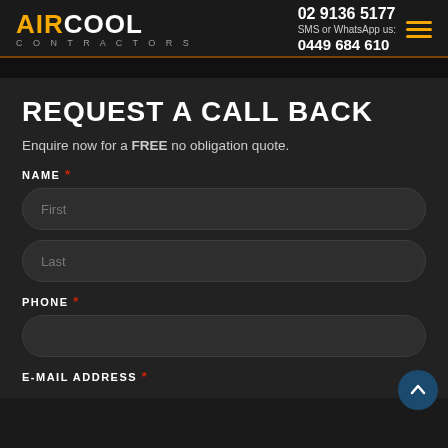AIRCOOL CONTRACTORS | 02 9136 5177 | SMS or WhatsApp us: 0449 684 610
REQUEST A CALL BACK
Enquire now for a FREE no obligation quote.
NAME *
First
Last
PHONE *
E-MAIL ADDRESS *